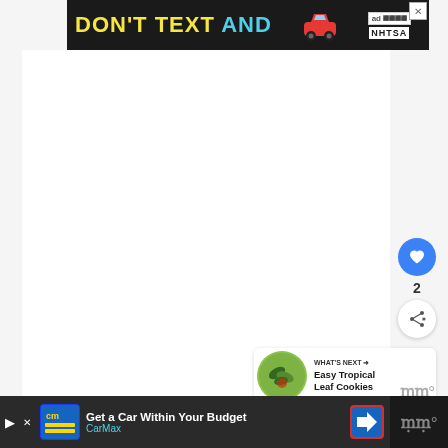[Figure (other): NHTSA 'Don't Text and Drive' advertisement banner with yellow and cyan text on dark background, red car emoji, ad label and NHTSA logo, with X close button]
[Figure (other): White blank content area - main page body]
[Figure (other): Blue circular heart/favorite button]
2
[Figure (other): White circular share button with share icon]
[Figure (other): What's Next card with tropical leaf cookie thumbnail and text 'WHAT'S NEXT → Easy Tropical Leaf Cookies']
[Figure (other): CarMax advertisement banner: 'Get a Car Within Your Budget' with CarMax logo and navigation icon]